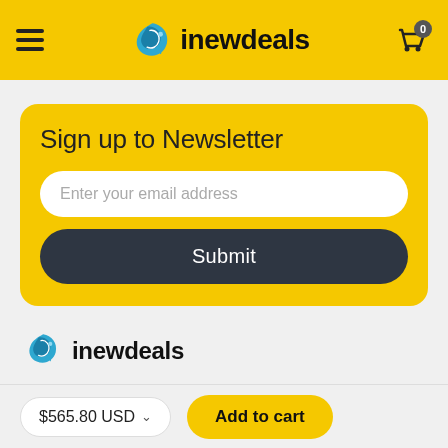inewdeals — navigation header with hamburger menu, logo, and cart icon (0 items)
Sign up to Newsletter
Enter your email address
Submit
[Figure (logo): inewdeals logo with teal swirl bird and brand name]
$565.80 USD
Add to cart